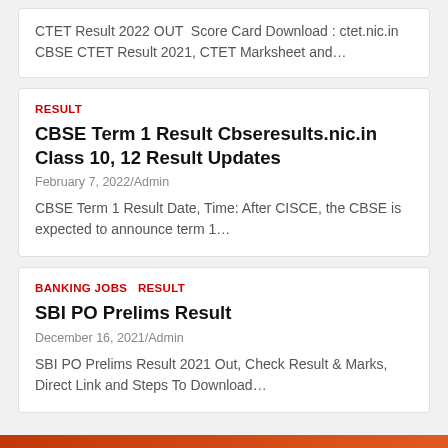CTET Result 2022 OUT  Score Card Download : ctet.nic.in CBSE CTET Result 2021, CTET Marksheet and…
RESULT
CBSE Term 1 Result Cbseresults.nic.in Class 10, 12 Result Updates
February 7, 2022/Admin
CBSE Term 1 Result Date, Time: After CISCE, the CBSE is expected to announce term 1…
BANKING JOBS  RESULT
SBI PO Prelims Result
December 16, 2021/Admin
SBI PO Prelims Result 2021 Out, Check Result & Marks, Direct Link and Steps To Download…